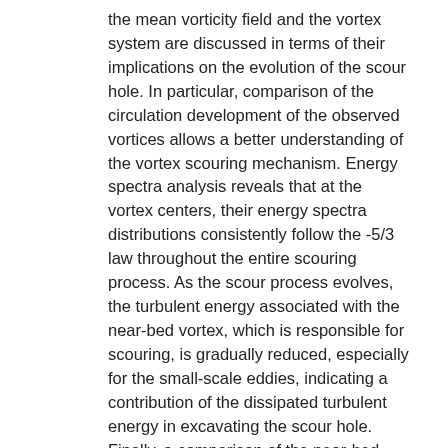the mean vorticity field and the vortex system are discussed in terms of their implications on the evolution of the scour hole. In particular, comparison of the circulation development of the observed vortices allows a better understanding of the vortex scouring mechanism. Energy spectra analysis reveals that at the vortex centers, their energy spectra distributions consistently follow the -5/3 law throughout the entire scouring process. As the scour process evolves, the turbulent energy associated with the near-bed vortex, which is responsible for scouring, is gradually reduced, especially for the small-scale eddies, indicating a contribution of the dissipated turbulent energy in excavating the scour hole. Finally, a comparison of the near-bed flow characteristics of the average kinetic energy (AKE), turbulent kinetic energy (TKE), and Reynolds shear stress (RSS) are also discussed in terms of their implications for the scour hole development.